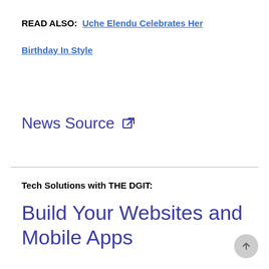READ ALSO:  Uche Elendu Celebrates Her Birthday In Style
News Source
Tech Solutions with THE DGIT:
Build Your Websites and Mobile Apps